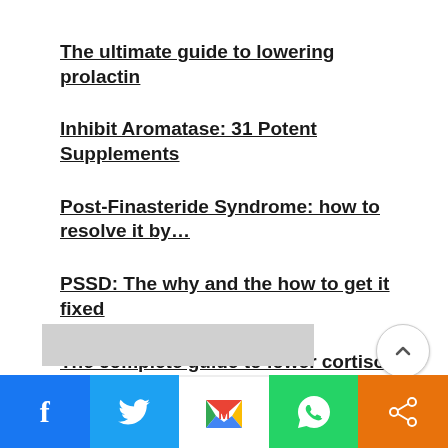The ultimate guide to lowering prolactin
Inhibit Aromatase: 31 Potent Supplements
Post-Finasteride Syndrome: how to resolve it by…
PSSD: The why and the how to get it fixed
The complete guide to lower cortisol for optimize thyroid, testosterone and health
[Figure (photo): Partial image visible at the bottom of the page, mostly gray/cropped]
Social sharing bar with Facebook, Twitter, Gmail, WhatsApp, and Share buttons